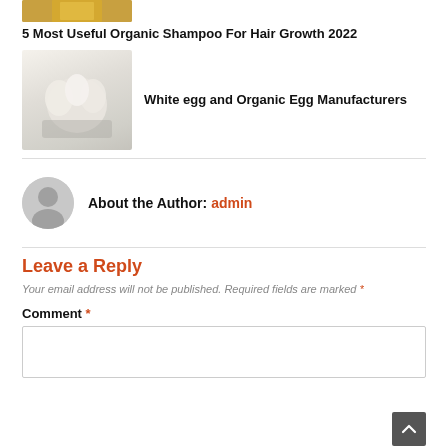[Figure (photo): Partial thumbnail image of an organic shampoo bottle with gold cap]
5 Most Useful Organic Shampoo For Hair Growth 2022
[Figure (photo): Thumbnail image of white eggs in a glass bowl]
White egg and Organic Egg Manufacturers
About the Author: admin
Leave a Reply
Your email address will not be published. Required fields are marked *
Comment *